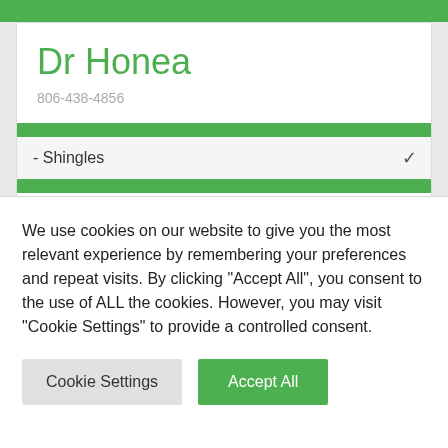Dr Honea
806-438-4856
- Shingles
Shingles
We use cookies on our website to give you the most relevant experience by remembering your preferences and repeat visits. By clicking "Accept All", you consent to the use of ALL the cookies. However, you may visit "Cookie Settings" to provide a controlled consent.
Cookie Settings
Accept All